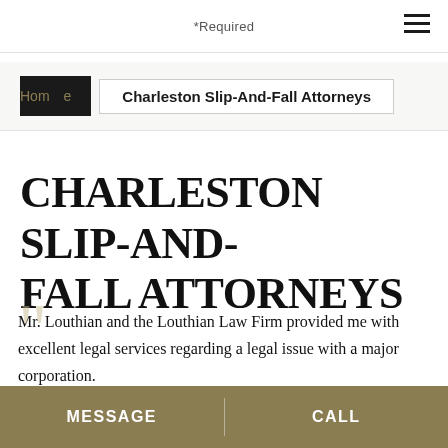*Required
Home | Charleston Slip-And-Fall Attorneys
CHARLESTON SLIP-AND-FALL ATTORNEYS
Mr. Louthian and the Louthian Law Firm provided me with excellent legal services regarding a legal issue with a major corporation.
MESSAGE | CALL